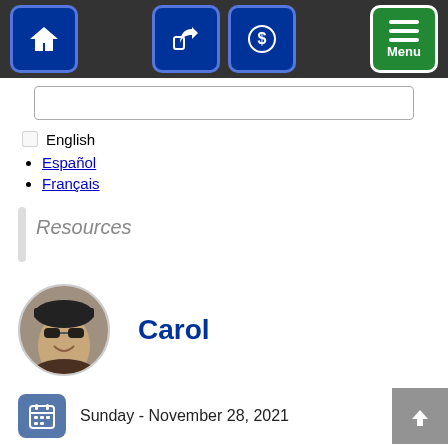[Figure (screenshot): Navigation bar with home icon button (blue), share icon button (blue), dollar/payment icon button (blue), and green Menu button with horizontal lines icon]
[Figure (screenshot): Text input field (empty, white background with border)]
English
Español
Français
Resources
[Figure (photo): Circular profile photo of a person wearing sunglasses and a dark cap, smiling]
Carol
Sunday - November 28, 2021